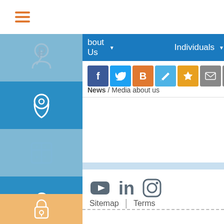[Figure (screenshot): Hamburger menu icon with three orange horizontal lines]
bout Us  Individuals
[Figure (infographic): Social share buttons: Facebook, Twitter, Blogger, Edit, Star, Mail, Print, Plus, and a counter showing 0]
News / Media about us
[Figure (infographic): Social media icons: YouTube, LinkedIn, Instagram]
Sitemap | Terms
© 2021, Converse Bank
nk, post@conversebank.am
e of discrepancies between the Armenian and English version
rmenian version shall prevail.
: 2022-08-23 13:42:07